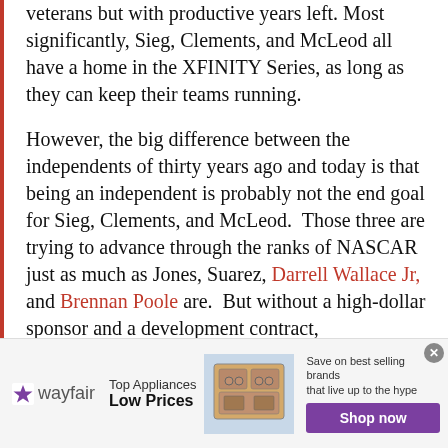veterans but with productive years left. Most significantly, Sieg, Clements, and McLeod all have a home in the XFINITY Series, as long as they can keep their teams running.

However, the big difference between the independents of thirty years ago and today is that being an independent is probably not the end goal for Sieg, Clements, and McLeod.  Those three are trying to advance through the ranks of NASCAR just as much as Jones, Suarez, Darrell Wallace Jr, and Brennan Poole are.  But without a high-dollar sponsor and a development contract,
[Figure (other): Wayfair advertisement banner: Wayfair logo on left, 'Top Appliances Low Prices' text, image of an appliance/stove, and 'Save on best selling brands that live up to the hype' with a purple 'Shop now' button.]